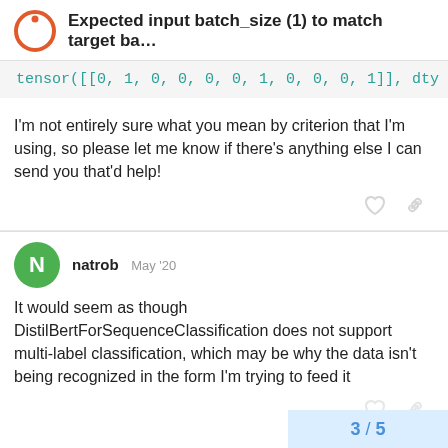Expected input batch_size (1) to match target ba...
tensor([[0, 1, 0, 0, 0, 0, 1, 0, 0, 0, 1]], dty
I'm not entirely sure what you mean by criterion that I'm using, so please let me know if there's anything else I can send you that'd help!
natrob    May '20
It would seem as though DistilBertForSequenceClassification does not support multi-label classification, which may be why the data isn't being recognized in the form I'm trying to feed it